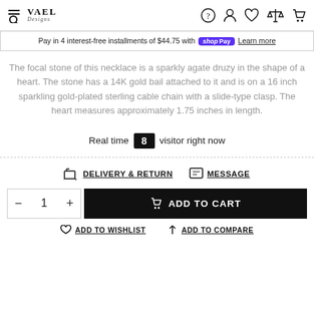VAEL Designs navigation header with hamburger/search, logo, help, account, wishlist, compare, cart icons
Pay in 4 interest-free installments of $44.75 with Shop Pay. Learn more
The focal stone of this necklace is a sparkly agate druzy in the shape of a heart. The stone has a 14K gold bail attached to it and is on a 16 inch sparkling gold-plated sterling cable chain with a slide-type clasp. The heart measures approximately 1.75 inches in length.
Real time 8 visitor right now
DELIVERY & RETURN   MESSAGE
- 1 +  ADD TO CART
ADD TO WISHLIST   ADD TO COMPARE